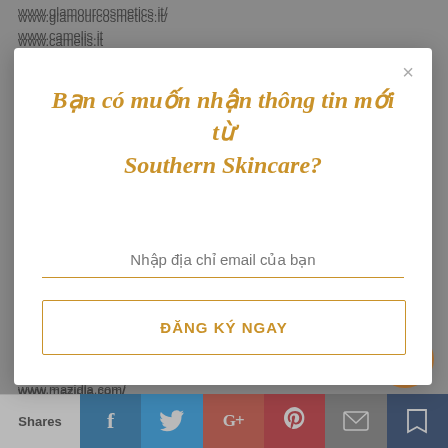www.glamourcosmetics.it/
www.camelis.it
https://www.zenstore.it/
www.formulatorsampleshop.eu
[Figure (screenshot): Modal popup dialog asking Vietnamese users if they want to receive news from Southern Skincare. Contains a golden italic heading 'Bạn có muốn nhận thông tin mới từ Southern Skincare?', an email input field labeled 'Nhập địa chỉ email của bạn', and a subscription button 'ĐĂNG KÝ NGAY'. Has an X close button in top right corner.]
http://www.kolorowka.com/
www.mazidla.com/
[Figure (infographic): Social share bar at bottom with Shares label and buttons for Facebook, Twitter, Google+, Pinterest, Email, and Bookmark. Orange messenger chat bubble in bottom right.]